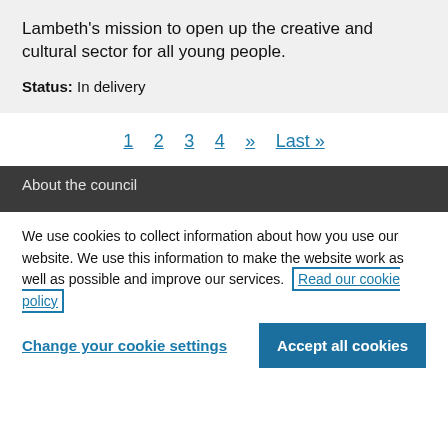Lambeth's mission to open up the creative and cultural sector for all young people.
Status: In delivery
1 2 3 4 >> Last »
About the council
We use cookies to collect information about how you use our website. We use this information to make the website work as well as possible and improve our services. Read our cookie policy
Change your cookie settings   Accept all cookies